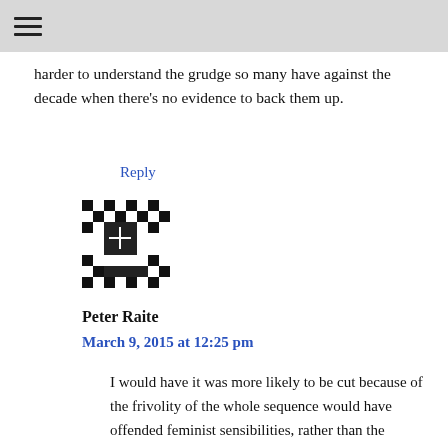☰
harder to understand the grudge so many have against the decade when there's no evidence to back them up.
Reply
[Figure (illustration): Avatar image: black and white pixel/mosaic style icon for commenter Peter Raite]
Peter Raite
March 9, 2015 at 12:25 pm
I would have it was more likely to be cut because of the frivolity of the whole sequence would have offended feminist sensibilities, rather than the dynamic with one nurse in particular. Other British films around the same time were exploring the issue of inter-racial relationships (e.g. Pool of